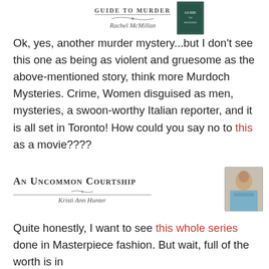[Figure (illustration): Book cover fragment for 'Guide to Murder' by Rachel McMillan with a dark green cover and author name in script, plus a book image thumbnail on the right]
Ok, yes, another murder mystery...but I don't see this one as being as violent and gruesome as the above-mentioned story, think more Murdoch Mysteries. Crime, Women disguised as men, mysteries, a swoon-worthy Italian reporter, and it is all set in Toronto! How could you say no to this as a movie????
[Figure (illustration): Book cover for 'An Uncommon Courtship' by Kristi Ann Hunter, showing a woman in a blue dress, with stylized title text and script author name]
Quite honestly, I want to see this whole series done in Masterpiece fashion. But wait, full of the worth is in...